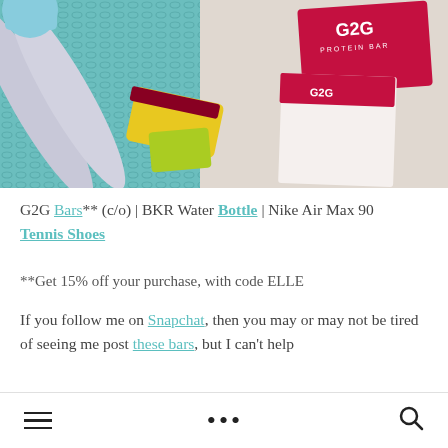[Figure (photo): Photo of G2G protein bars and packages alongside gray yoga mat rolls and a blue/teal water bottle on a teal mesh surface]
G2G Bars** (c/o) | BKR Water Bottle | Nike Air Max 90 Tennis Shoes
**Get 15% off your purchase, with code ELLE
If you follow me on Snapchat, then you may or may not be tired of seeing me post these bars, but I can't help
≡  •••  🔍